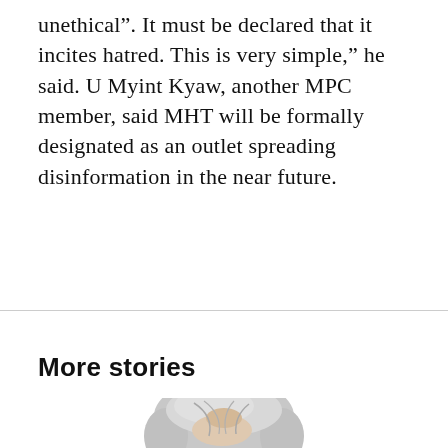unethical". It must be declared that it incites hatred. This is very simple," he said. U Myint Kyaw, another MPC member, said MHT will be formally designated as an outlet spreading disinformation in the near future.
More stories
[Figure (photo): Head and shoulders photo of an elderly man with white/grey hair, cropped at the bottom of the page]